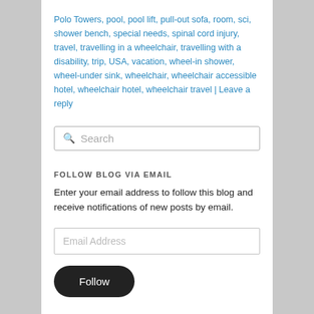Polo Towers, pool, pool lift, pull-out sofa, room, sci, shower bench, special needs, spinal cord injury, travel, travelling in a wheelchair, travelling with a disability, trip, USA, vacation, wheel-in shower, wheel-under sink, wheelchair, wheelchair accessible hotel, wheelchair hotel, wheelchair travel | Leave a reply
Search
FOLLOW BLOG VIA EMAIL
Enter your email address to follow this blog and receive notifications of new posts by email.
Email Address
Follow
Follow Papa Wheelie